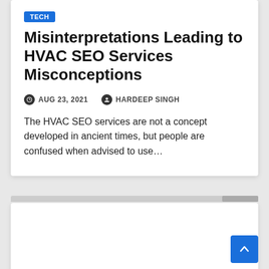TECH
Misinterpretations Leading to HVAC SEO Services Misconceptions
AUG 23, 2021   HARDEEP SINGH
The HVAC SEO services are not a concept developed in ancient times, but people are confused when advised to use...